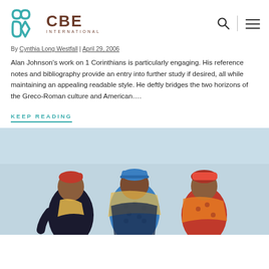CBE INTERNATIONAL
By Cynthia Long Westfall | April 29, 2006
Alan Johnson's work on 1 Corinthians is particularly engaging. His reference notes and bibliography provide an entry into further study if desired, all while maintaining an appealing readable style. He deftly bridges the two horizons of the Greco-Roman culture and American....
KEEP READING
[Figure (illustration): A colorful painting of three figures standing together, rendered in a bold expressionist style with red, blue, yellow and dark tones. The figures appear to be African or African-American, wearing colorful clothing. Background is light blue.]